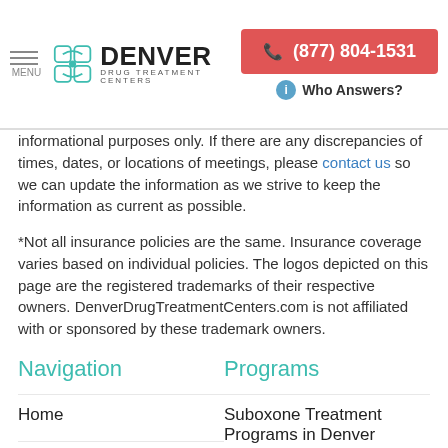Denver Drug Treatment Centers — (877) 804-1531 — Who Answers?
informational purposes only. If there are any discrepancies of times, dates, or locations of meetings, please contact us so we can update the information as we strive to keep the information as current as possible.
*Not all insurance policies are the same. Insurance coverage varies based on individual policies. The logos depicted on this page are the registered trademarks of their respective owners. DenverDrugTreatmentCenters.com is not affiliated with or sponsored by these trademark owners.
Navigation
Programs
Home
Suboxone Treatment Programs in Denver
Alcohol Rehab
Relapse Prevention Programs in Denver
Drug Rehab
Klonopin Addiction in
Dual Diagnosis Treatment